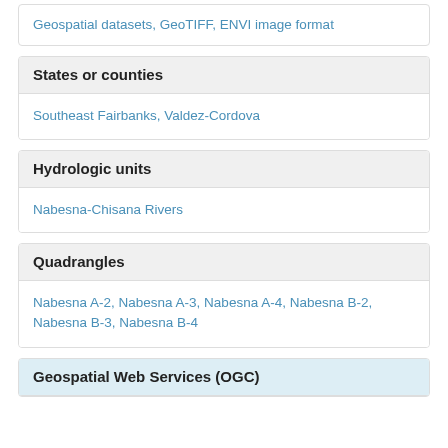Geospatial datasets, GeoTIFF, ENVI image format
States or counties
Southeast Fairbanks, Valdez-Cordova
Hydrologic units
Nabesna-Chisana Rivers
Quadrangles
Nabesna A-2, Nabesna A-3, Nabesna A-4, Nabesna B-2, Nabesna B-3, Nabesna B-4
Geospatial Web Services (OGC)